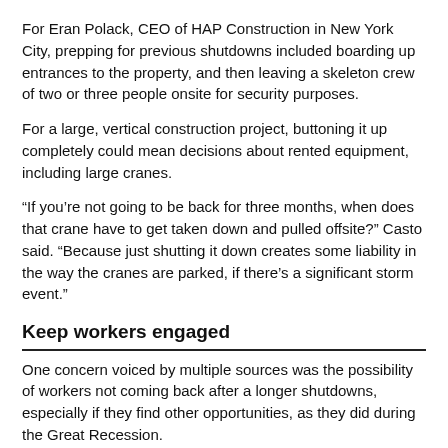For Eran Polack, CEO of HAP Construction in New York City, prepping for previous shutdowns included boarding up entrances to the property, and then leaving a skeleton crew of two or three people onsite for security purposes.
For a large, vertical construction project, buttoning it up completely could mean decisions about rented equipment, including large cranes.
“If you’re not going to be back for three months, when does that crane have to get taken down and pulled offsite?” Casto said. “Because just shutting it down creates some liability in the way the cranes are parked, if there’s a significant storm event.”
Keep workers engaged
One concern voiced by multiple sources was the possibility of workers not coming back after a longer shutdowns, especially if they find other opportunities, as they did during the Great Recession.
“For instance, if construction is deemed not to be an essential industry, but Amazon can continue to operate, one could expect a lot of construction workers to try to find work in fulfillment centers,” said Associated Builders and Contractors chief economist Anirban Basu. “There’s no guarantee they will come back to the construction trades.”